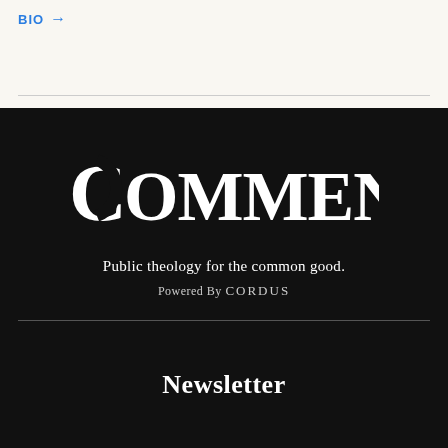BIO →
[Figure (logo): Comment magazine logo — stylized letter C with 'OMMENT' text in white on dark background]
Public theology for the common good.
Powered By CARDUS
Newsletter